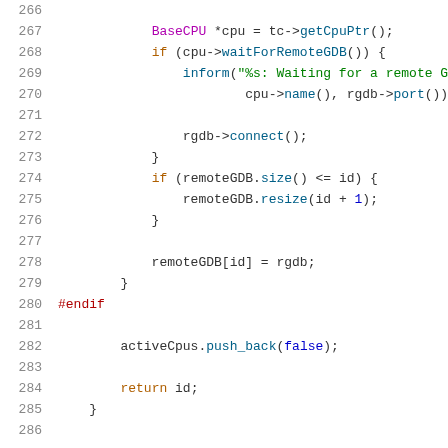Source code listing lines 266-286, C++ code snippet involving BaseCPU, remote GDB connection logic, and remoteGDB/activeCpus management.